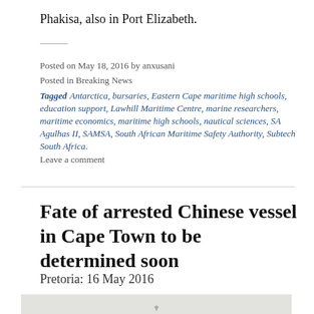Phakisa, also in Port Elizabeth.
Posted on May 18, 2016 by anxusani
Posted in Breaking News
Tagged Antarctica, bursaries, Eastern Cape maritime high schools, education support, Lawhill Maritime Centre, marine researchers, maritime economics, maritime high schools, nautical sciences, SA Agulhas II, SAMSA, South African Maritime Safety Authority, Subtech South Africa.
Leave a comment
Fate of arrested Chinese vessel in Cape Town to be determined soon
Pretoria: 16 May 2016
[Figure (photo): Photograph partially visible at the bottom of the page, light gray background with a small marking visible near the center bottom.]